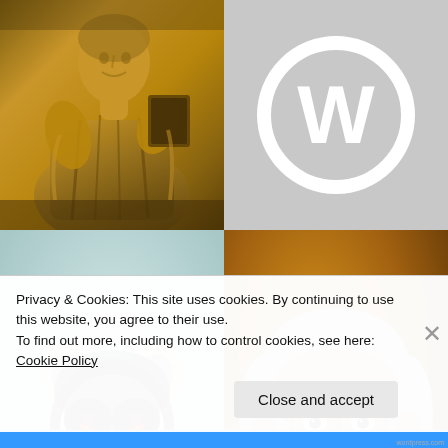[Figure (photo): Bronze/gold statue of a robed figure holding a book or tablet, shown from waist up]
[Figure (logo): WordPress logo: white W in a circle on grey background]
[Figure (photo): Anthropomorphized ring-tailed lemur with red eyes wearing a salmon/pink jacket and blue shirt, standing upright]
[Figure (photo): Portrait of a middle-aged man with grey hair, glasses, beard, smiling, wearing a green shirt, against warm brown/gold background]
Privacy & Cookies: This site uses cookies. By continuing to use this website, you agree to their use.
To find out more, including how to control cookies, see here: Cookie Policy
Close and accept